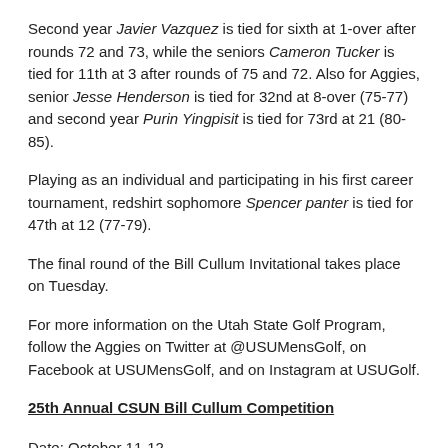Second year Javier Vazquez is tied for sixth at 1-over after rounds 72 and 73, while the seniors Cameron Tucker is tied for 11th at 3 after rounds of 75 and 72. Also for Aggies, senior Jesse Henderson is tied for 32nd at 8-over (75-77) and second year Purin Yingpisit is tied for 73rd at 21 (80-85).
Playing as an individual and participating in his first career tournament, redshirt sophomore Spencer panter is tied for 47th at 12 (77-79).
The final round of the Bill Cullum Invitational takes place on Tuesday.
For more information on the Utah State Golf Program, follow the Aggies on Twitter at @USUMensGolf, on Facebook at USUMensGolf, and on Instagram at USUGolf.
25th Annual CSUN Bill Cullum Competition
Date: October 11-12
Host course: The Oaks Club in Valencia
normal: 72